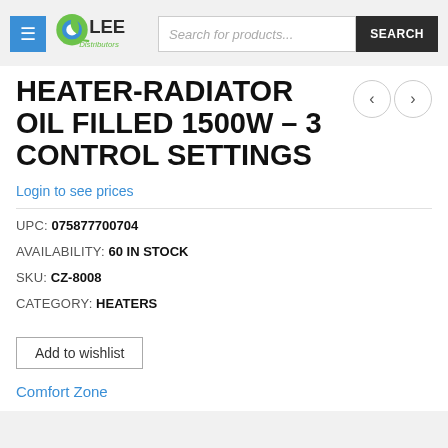[Figure (logo): Lee Distributors logo with green leaf/circle icon and company name]
HEATER-RADIATOR OIL FILLED 1500W – 3 CONTROL SETTINGS
Login to see prices
UPC: 075877700704
AVAILABILITY: 60 IN STOCK
SKU: CZ-8008
CATEGORY: HEATERS
Add to wishlist
Comfort Zone